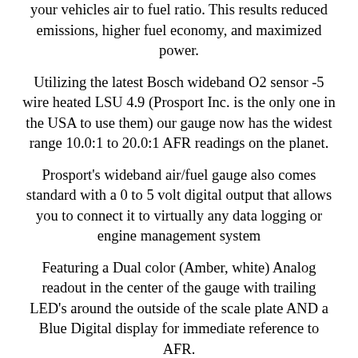your vehicles air to fuel ratio. This results reduced emissions, higher fuel economy, and maximized power.
Utilizing the latest Bosch wideband O2 sensor -5 wire heated LSU 4.9 (Prosport Inc. is the only one in the USA to use them) our gauge now has the widest range 10.0:1 to 20.0:1 AFR readings on the planet.
Prosport's wideband air/fuel gauge also comes standard with a 0 to 5 volt digital output that allows you to connect it to virtually any data logging or engine management system
Featuring a Dual color (Amber, white) Analog readout in the center of the gauge with trailing LED's around the outside of the scale plate AND a Blue Digital display for immediate reference to AFR.